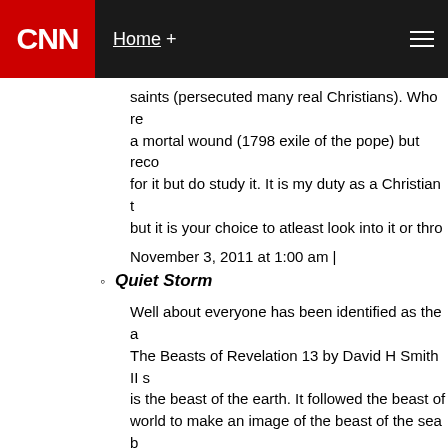CNN | Home +
saints (persecuted many real Christians). Who re a mortal wound (1798 exile of the pope) but reco for it but do study it. It is my duty as a Christian t but it is your choice to atleast look into it or thro
November 3, 2011 at 1:00 am |
Quiet Storm
Well about everyone has been identified as the a The Beasts of Revelation 13 by David H Smith II s is the beast of the earth. It followed the beast of world to make an image of the beast of the sea b governments in the image of rome's (democracy from heaven (nuclear warheads), ,kills those who of the beast (wars to support or defend democra about count the number of the beast for it is the America is named after a man, therefore the ma Vespuccios.
As for the Catholic Church, this book posits that